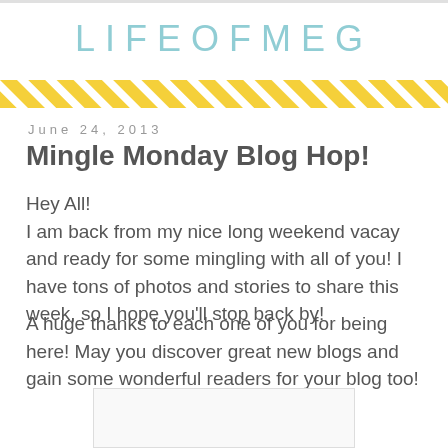LIFEOFMEG
June 24, 2013
Mingle Monday Blog Hop!
Hey All!
I am back from my nice long weekend vacay and ready for some mingling with all of you! I have tons of photos and stories to share this week, so I hope you'll stop back by!
A huge thanks to each one of you for being here! May you discover great new blogs and gain some wonderful readers for your blog too!
[Figure (other): Empty white box with light border at bottom of page]